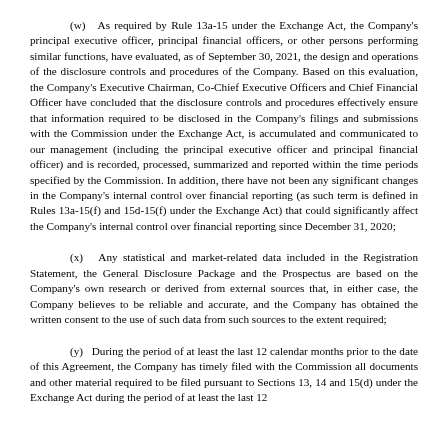(w) As required by Rule 13a-15 under the Exchange Act, the Company's principal executive officer, principal financial officers, or other persons performing similar functions, have evaluated, as of September 30, 2021, the design and operations of the disclosure controls and procedures of the Company. Based on this evaluation, the Company's Executive Chairman, Co-Chief Executive Officers and Chief Financial Officer have concluded that the disclosure controls and procedures effectively ensure that information required to be disclosed in the Company's filings and submissions with the Commission under the Exchange Act, is accumulated and communicated to our management (including the principal executive officer and principal financial officer) and is recorded, processed, summarized and reported within the time periods specified by the Commission. In addition, there have not been any significant changes in the Company's internal control over financial reporting (as such term is defined in Rules 13a-15(f) and 15d-15(f) under the Exchange Act) that could significantly affect the Company's internal control over financial reporting since December 31, 2020;
(x) Any statistical and market-related data included in the Registration Statement, the General Disclosure Package and the Prospectus are based on the Company's own research or derived from external sources that, in either case, the Company believes to be reliable and accurate, and the Company has obtained the written consent to the use of such data from such sources to the extent required;
(y) During the period of at least the last 12 calendar months prior to the date of this Agreement, the Company has timely filed with the Commission all documents and other material required to be filed pursuant to Sections 13, 14 and 15(d) under the Exchange Act during the period of at least the last 12...